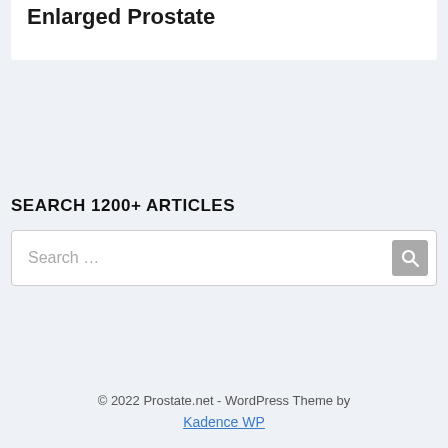Enlarged Prostate
SEARCH 1200+ ARTICLES
Search …
© 2022 Prostate.net - WordPress Theme by Kadence WP